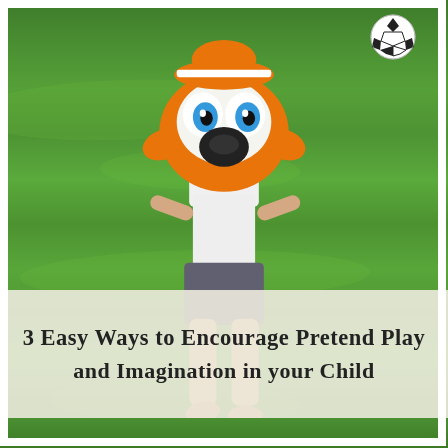[Figure (photo): A toddler child wearing an orange cartoon character costume/backpack with large blue eyes, black beak/nose, running barefoot on a green grass lawn. A soccer ball is visible in the upper right corner of the image.]
3 Easy Ways to Encourage Pretend Play and Imagination in your Child